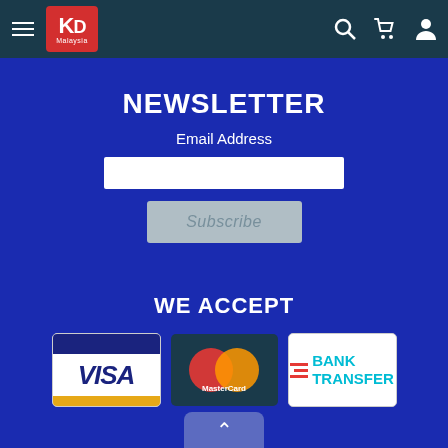[Figure (logo): KD Malaysia logo in red box with hamburger menu on dark teal navbar, plus search, cart, and user icons]
NEWSLETTER
Email Address
Subscribe
WE ACCEPT
[Figure (infographic): Three payment method logos: Visa, MasterCard, Bank Transfer]